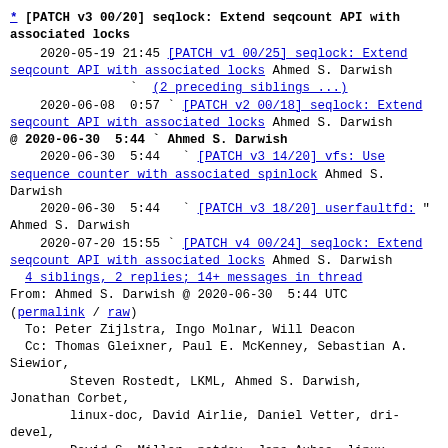* [PATCH v3 00/20] seqlock: Extend seqcount API with associated locks
    2020-05-19 21:45 [PATCH v1 00/25] seqlock: Extend seqcount API with associated locks Ahmed S. Darwish
                `  (2 preceding siblings ...)
    2020-06-08  0:57 ` [PATCH v2 00/18] seqlock: Extend seqcount API with associated locks Ahmed S. Darwish
@ 2020-06-30  5:44 ` Ahmed S. Darwish
    2020-06-30  5:44   ` [PATCH v3 14/20] vfs: Use sequence counter with associated spinlock Ahmed S. Darwish
    2020-06-30  5:44   ` [PATCH v3 18/20] userfaultfd: " Ahmed S. Darwish
    2020-07-20 15:55 ` [PATCH v4 00/24] seqlock: Extend seqcount API with associated locks Ahmed S. Darwish
  4 siblings, 2 replies; 14+ messages in thread
From: Ahmed S. Darwish @ 2020-06-30  5:44 UTC
(permalink / raw)
  To: Peter Zijlstra, Ingo Molnar, Will Deacon
  Cc: Thomas Gleixner, Paul E. McKenney, Sebastian A. Siewior,
        Steven Rostedt, LKML, Ahmed S. Darwish, Jonathan Corbet,
        linux-doc, David Airlie, Daniel Vetter, dri-devel,
        David S. Miller, netdev, Jens Axboe, linux-block, Alexander Viro,
        linux-fsdevel